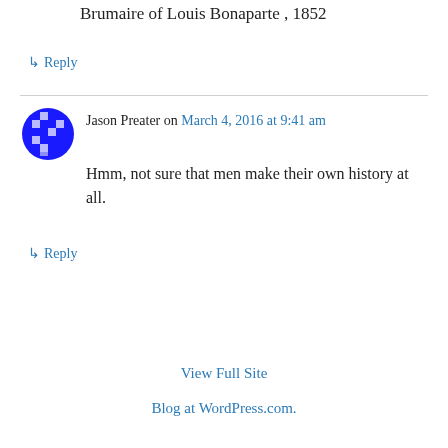Brumaire of Louis Bonaparte , 1852
↳ Reply
Jason Preater on March 4, 2016 at 9:41 am
Hmm, not sure that men make their own history at all.
↳ Reply
View Full Site
Blog at WordPress.com.